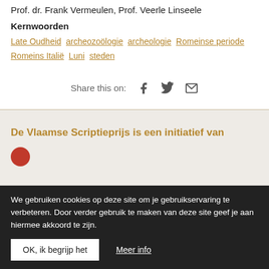Prof. dr. Frank Vermeulen, Prof. Veerle Linseele
Kernwoorden
Late Oudheid archeozoölogie archeologie Romeinse periode Romeins Italië Luni steden
Share this on:
De Vlaamse Scriptieprijs is een initiatief van
We gebruiken cookies op deze site om je gebruikservaring te verbeteren. Door verder gebruik te maken van deze site geef je aan hiermee akkoord te zijn.
OK, ik begrijp het  Meer info